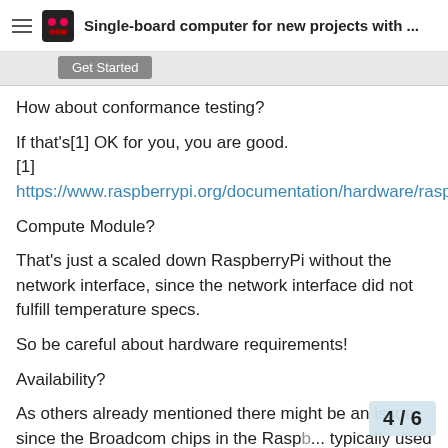Single-board computer for new projects with ...
Get Started
How about conformance testing?
If that's[1] OK for you, you are good.
[1]
https://www.raspberrypi.org/documentation/hardware/raspberrypi/conformity.md
Compute Module?
That's just a scaled down RaspberryPi without the network interface, since the network interface did not fulfill temperature specs.
So be careful about hardware requirements!
Availability?
As others already mentioned there might be an issue, since the Broadcom chips in the Rasp... typically used for consumer devices an... made for those are well, including avail...
4 / 6